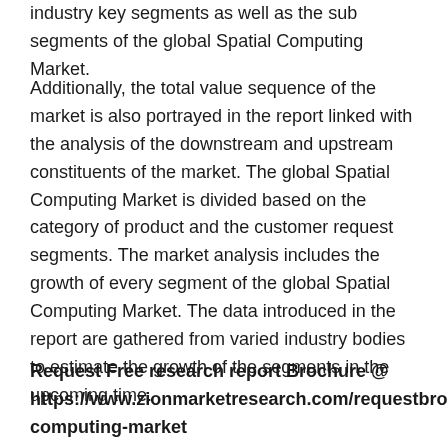industry key segments as well as the sub segments of the global Spatial Computing Market.
Additionally, the total value sequence of the market is also portrayed in the report linked with the analysis of the downstream and upstream constituents of the market. The global Spatial Computing Market is divided based on the category of product and the customer request segments. The market analysis includes the growth of every segment of the global Spatial Computing Market. The data introduced in the report are gathered from varied industry bodies to estimate the growth of the segments in the upcoming time.
Request Free research report Brochure @ https://www.zionmarketresearch.com/requestbrochure/spatial-computing-market